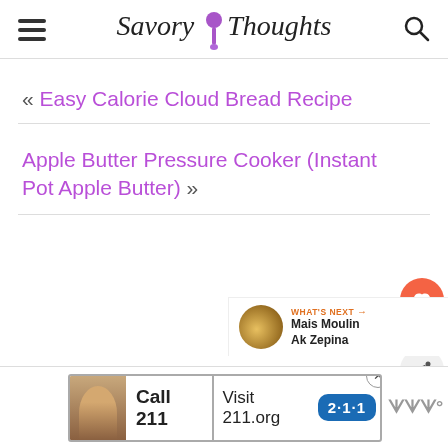Savory Thoughts
« Easy Calorie Cloud Bread Recipe
Apple Butter Pressure Cooker (Instant Pot Apple Butter) »
WHAT'S NEXT → Mais Moulin Ak Zepina
[Figure (infographic): Advertisement banner: Call 211 | Visit 211.org with 2·1·1 badge logo and person photo]
[Figure (logo): WW logo in grey]